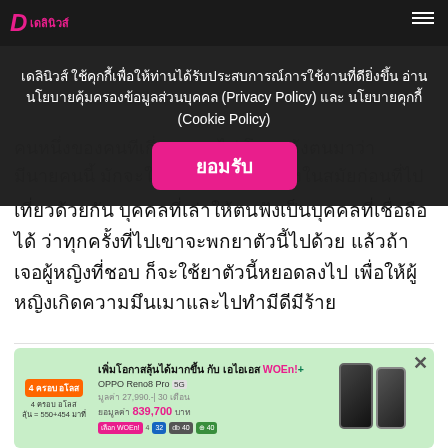เดลินิวส์ ใช้คุกกี้เพื่อให้ท่านได้รับประสบการณ์การใช้งานที่ดียิ่งขึ้น อ่านนโยบายคุ้มครองข้อมูลส่วนบุคคล (Privacy Policy) และ นโยบายคุกกี้ (Cookie Policy)
ยอมรับ
คนหนึ่งของคนทีเกี่ยว... ตงไม่ โดยแจ้งตนมาว่า มีนายคนนี้ มักจะใช้ยา... อยครั้งในสมัยก่อนที่ไป
เที่ยวด้วยกัน บุคคลที่เล่าให้ตนฟังเป็นบุคคลที่เชื่อถือได้ ว่าทุกครั้งที่ไปเขาจะพกยาตัวนี้ไปด้วย แล้วถ้าเจอผู้หญิงที่ชอบ ก็จะใช้ยาตัวนี้หยอดลงไป เพื่อให้ผู้หญิงเกิดความมึนเมาและไปทำมีดีมีร้าย
ADVERTISEMENT
อ่านเพิ่มเติม
[Figure (screenshot): Advertisement banner for AIS WOW+ with OPPO Reno8 Pro 5G. Shows price 27,990 baht with 30-month installment plan, total value 839,700 baht. Green background with phone images.]